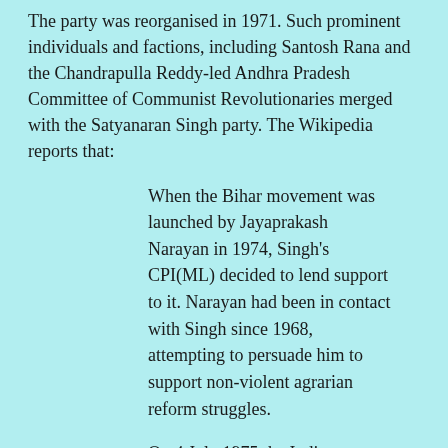The party was reorganised in 1971. Such prominent individuals and factions, including Santosh Rana and the Chandrapulla Reddy-led Andhra Pradesh Committee of Communist Revolutionaries merged with the Satyanaran Singh party. The Wikipedia reports that:
When the Bihar movement was launched by Jayaprakash Narayan in 1974, Singh's CPI(ML) decided to lend support to it. Narayan had been in contact with Singh since 1968, attempting to persuade him to support non-violent agrarian reform struggles.
On 4 July 1975 the Indian government banned 27 organisations, Singh's CPI(ML) was one of them. Under the Emergency Singh's CPI(ML) formulated a three-tier united front line, calling for the formation of a